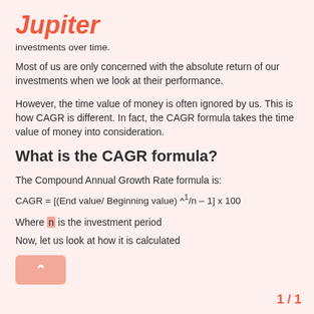Jupiter
investments over time.
Most of us are only concerned with the absolute return of our investments when we look at their performance.
However, the time value of money is often ignored by us. This is how CAGR is different. In fact, the CAGR formula takes the time value of money into consideration.
What is the CAGR formula?
The Compound Annual Growth Rate formula is:
Where n is the investment period
Now, let us look at how it is calculated
1 / 1